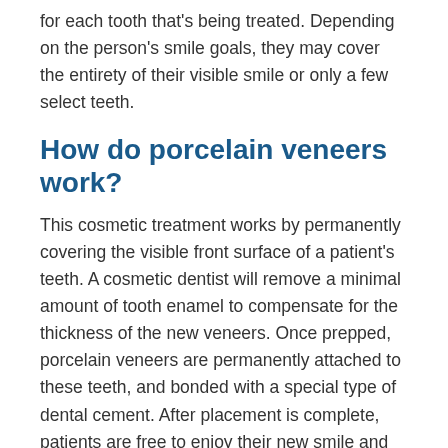for each tooth that's being treated. Depending on the person's smile goals, they may cover the entirety of their visible smile or only a few select teeth.
How do porcelain veneers work?
This cosmetic treatment works by permanently covering the visible front surface of a patient's teeth. A cosmetic dentist will remove a minimal amount of tooth enamel to compensate for the thickness of the new veneers. Once prepped, porcelain veneers are permanently attached to these teeth, and bonded with a special type of dental cement. After placement is complete, patients are free to enjoy their new smile and care for their newly veneered teeth just as they would their natural teeth.
Wh...